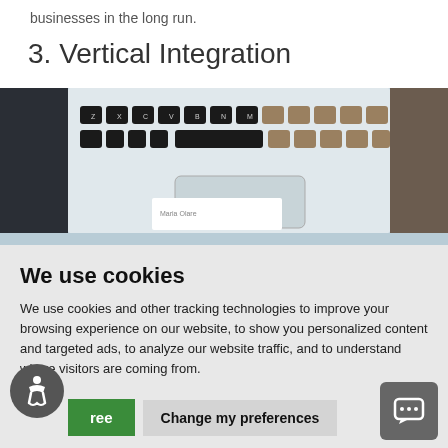businesses in the long run.
3. Vertical Integration
[Figure (photo): Photo of a laptop keyboard and trackpad from above, placed on a desk]
We use cookies
We use cookies and other tracking technologies to improve your browsing experience on our website, to show you personalized content and targeted ads, to analyze our website traffic, and to understand where visitors are coming from.